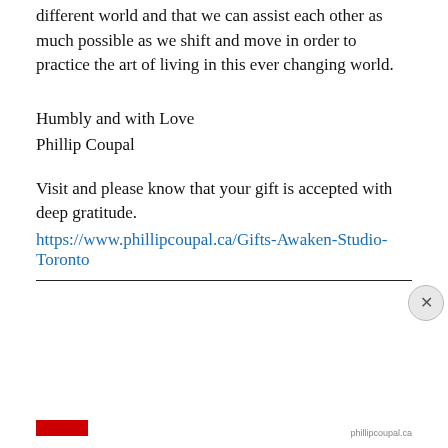different world and that we can assist each other as much possible as we shift and move in order to practice the art of living in this ever changing world.
Humbly and with Love
Phillip Coupal
Visit and please know that your gift is accepted with deep gratitude.
https://www.phillipcoupal.ca/Gifts-Awaken-Studio-Toronto
Privacy & Cookies: This site uses cookies. By continuing to use this website, you agree to their use.
To find out more, including how to control cookies, see here: Cookie Policy
Close and accept